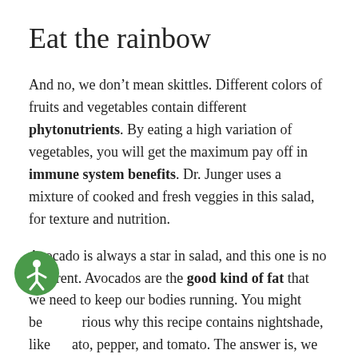Eat the rainbow
And no, we don't mean skittles. Different colors of fruits and vegetables contain different phytonutrients. By eating a high variation of vegetables, you will get the maximum pay off in immune system benefits. Dr. Junger uses a mixture of cooked and fresh veggies in this salad, for texture and nutrition.
Avocado is always a star in salad, and this one is no different. Avocados are the good kind of fat that we need to keep our bodies running. You might be curious why this recipe contains nightshade, like potato, pepper, and tomato. The answer is, we aren't cleansing all the time. If you have already